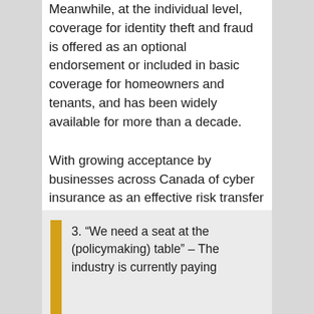Meanwhile, at the individual level, coverage for identity theft and fraud is offered as an optional endorsement or included in basic coverage for homeowners and tenants, and has been widely available for more than a decade.
With growing acceptance by businesses across Canada of cyber insurance as an effective risk transfer tool, there is opportunity for the insurance industry to position cyber insurance as an important element of cyber security management.
3. “We need a seat at the (policymaking) table” – The industry is currently paying